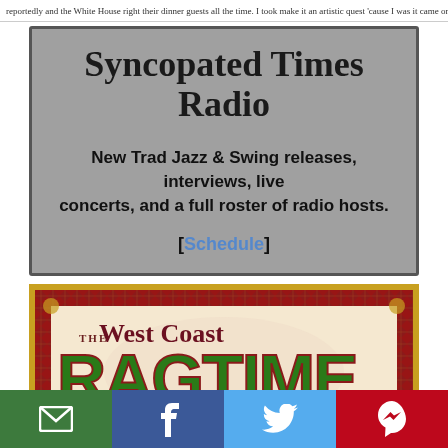reportedly and the White House right their dinner guests all the time. I took make it an artistic quest 'cause I was it came on her 8th birthday, when her country, sang at the White House right their dinner guests all the time.
Syncopated Times Radio
New Trad Jazz & Swing releases, interviews, live concerts, and a full roster of radio hosts.
[Schedule]
[Figure (illustration): West Coast Ragtime Festival promotional poster with decorative border in red and gold, featuring large green 'RAGTIME' text and dark red 'West Coast' and 'Festival' text on cream background]